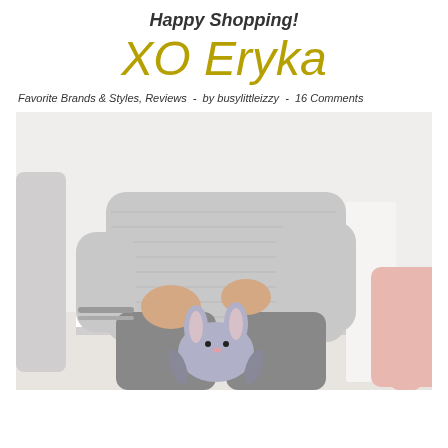Happy Shopping!
XO Eryka
Favorite Brands & Styles, Reviews  -  by busylittleizzy  -  16 Comments
[Figure (photo): Child sitting on a white chair wearing a grey knit sweater and grey pants, holding a small grey stuffed bunny toy. An adult in pink clothing is partially visible on the right.]